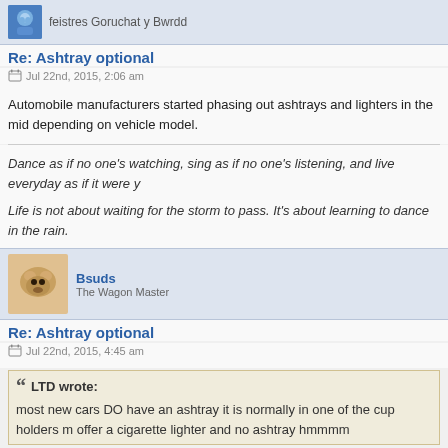feistres Goruchat y Bwrdd
Re: Ashtray optional
Jul 22nd, 2015, 2:06 am
Automobile manufacturers started phasing out ashtrays and lighters in the mid-1990s depending on vehicle model.
Dance as if no one's watching, sing as if no one's listening, and live everyday as if it were y…
Life is not about waiting for the storm to pass. It's about learning to dance in the rain.
Bsuds
The Wagon Master
Re: Ashtray optional
Jul 22nd, 2015, 4:45 am
LTD wrote:
most new cars DO have an ashtray it is normally in one of the cup holders … offer a cigarette lighter and no ashtray hmmmm
Just bought a new car and in the process test drove several and guess what…